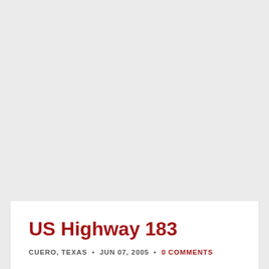US Highway 183
CUERO, TEXAS • JUN 07, 2005 • 0 COMMENTS